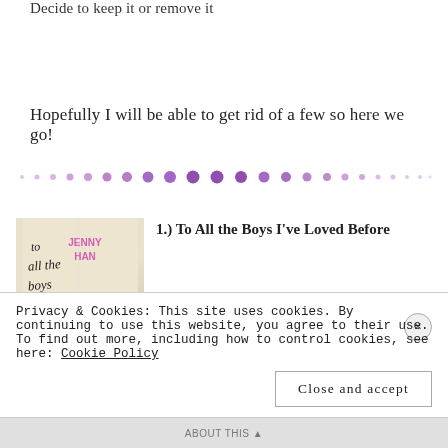Decide to keep it or remove it
Hopefully I will be able to get rid of a few so here we go!
[Figure (illustration): Row of purple decorative dots forming a divider, graduating in size from small at the edges to large in the center]
[Figure (photo): Book cover of 'To All the Boys I've Loved Before' by Jenny Han]
1.) To All the Boys I've Loved Before
Privacy & Cookies: This site uses cookies. By continuing to use this website, you agree to their use.
To find out more, including how to control cookies, see here: Cookie Policy
Close and accept
ABOUT THIS ▲